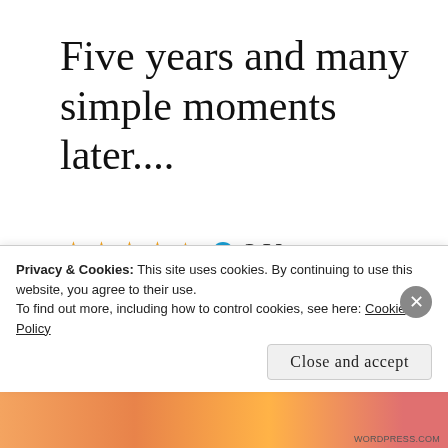Five years and many simple moments later....
3 Votes
I just received a message from WordPress wishing me on my 5th Blogiversary. Five years… wow! Can't believe it. This five-year
Privacy & Cookies: This site uses cookies. By continuing to use this website, you agree to their use.
To find out more, including how to control cookies, see here: Cookie Policy
Close and accept